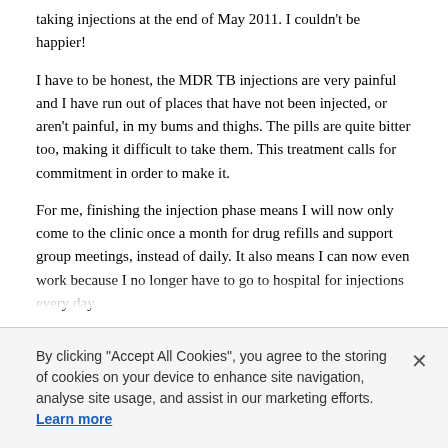taking injections at the end of May 2011. I couldn't be happier!
I have to be honest, the MDR TB injections are very painful and I have run out of places that have not been injected, or aren't painful, in my bums and thighs. The pills are quite bitter too, making it difficult to take them. This treatment calls for commitment in order to make it.
For me, finishing the injection phase means I will now only come to the clinic once a month for drug refills and support group meetings, instead of daily. It also means I can now even work because I no longer have to go to hospital for injections every day.
Before falling ill, I used to work for a forestry company here in Shiselweni, where I marked the length of logs and also assisted in counting each worker's load for the day. However, getting sick meant I had to give up my livelihood. It got so bad that I lost weight from 76kg to 48kg, which is what I weighed when I started MDR TB treatment over five months ago.
Although a difficult journey, the MDR TB treatment has helped me regain my weight and I now weigh 70kg. My CD4 count has also gone up from 25, where
By clicking "Accept All Cookies", you agree to the storing of cookies on your device to enhance site navigation, analyse site usage, and assist in our marketing efforts. Learn more